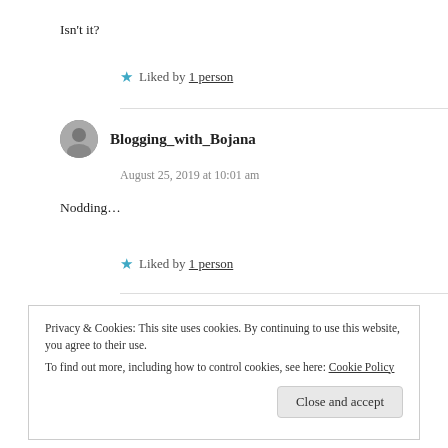Isn't it?
★ Liked by 1 person
Blogging_with_Bojana
August 25, 2019 at 10:01 am
Nodding…
★ Liked by 1 person
Privacy & Cookies: This site uses cookies. By continuing to use this website, you agree to their use.
To find out more, including how to control cookies, see here: Cookie Policy
Close and accept